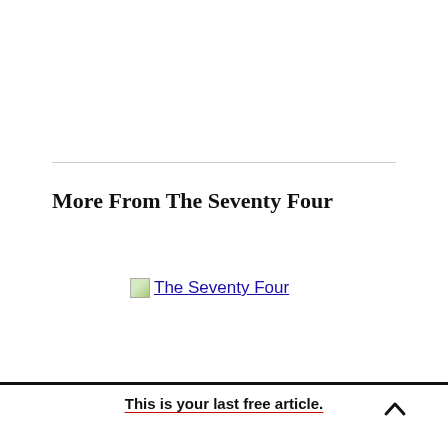More From The Seventy Four
[Figure (logo): The Seventy Four logo image (broken/loading) with text link 'The Seventy Four']
This is your last free article.